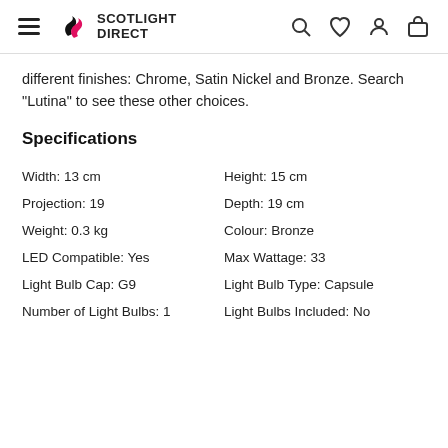Scotlight Direct
different finishes: Chrome, Satin Nickel and Bronze. Search "Lutina" to see these other choices.
Specifications
| Width: 13 cm | Height: 15 cm |
| Projection: 19 | Depth: 19 cm |
| Weight: 0.3 kg | Colour: Bronze |
| LED Compatible: Yes | Max Wattage: 33 |
| Light Bulb Cap: G9 | Light Bulb Type: Capsule |
| Number of Light Bulbs: 1 | Light Bulbs Included: No |